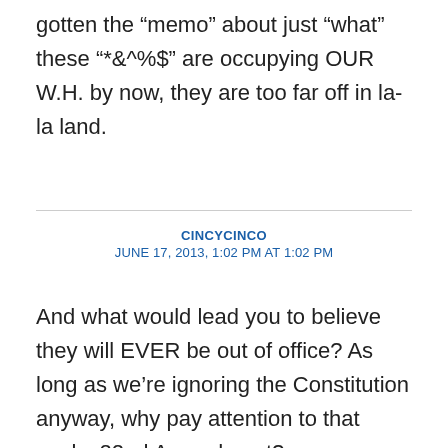gotten the “memo” about just “what” these “*&^%$” are occupying OUR W.H. by now, they are too far off in la-la land.
CINCYCINCO
JUNE 17, 2013, 1:02 PM AT 1:02 PM
And what would lead you to believe they will EVER be out of office? As long as we’re ignoring the Constitution anyway, why pay attention to that pesky 22nd Amendment? ESPECIALLY when you